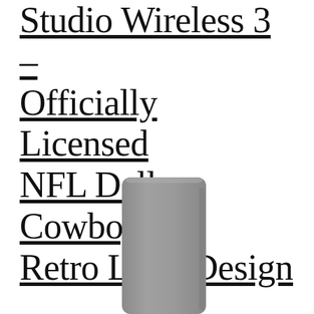Studio Wireless 3 – Officially Licensed NFL Dallas Cowboys Retro Logo Design
[Figure (photo): Partial view of a gray/silver headphone or product component, showing a rectangular curved shape against a white background]